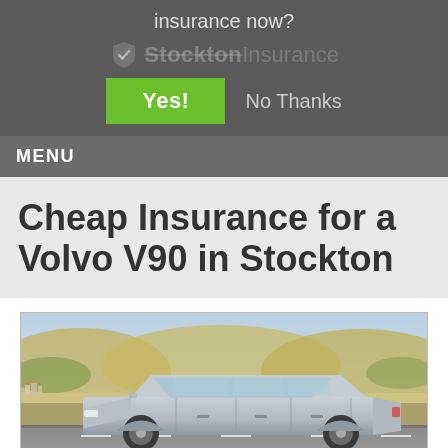insurance now?
[Figure (logo): Stockton Insurance logo with shield icon, faded/watermark style]
Yes!  No Thanks
MENU
Cheap Insurance for a Volvo V90 in Stockton
[Figure (photo): Silver Volvo V90 station wagon driving on a road with rolling hills and a Mediterranean village in the background]